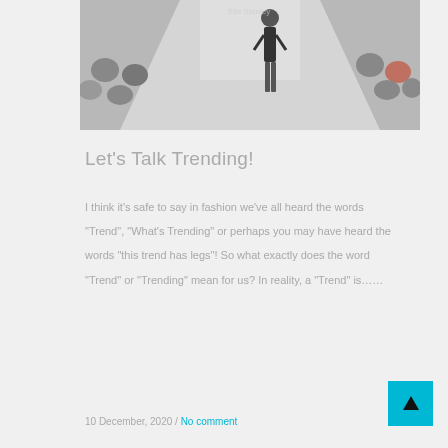[Figure (photo): Fashion runway photo showing a model in black dress walking on a white catwalk with audience seated on both sides]
Let’s Talk Trending!
I think it’s safe to say in fashion we’ve all heard the words “Trend”, “What’s Trending” or perhaps you may have heard the words “this trend has legs”! So what exactly does the word “Trend” or “Trending” mean for us? In reality, a “Trend” is…...
10 December, 2020 / No comment